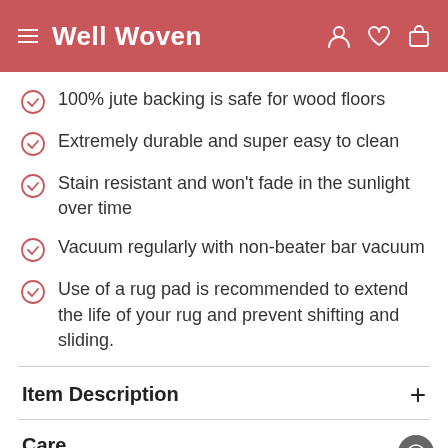Well Woven
100% jute backing is safe for wood floors
Extremely durable and super easy to clean
Stain resistant and won't fade in the sunlight over time
Vacuum regularly with non-beater bar vacuum
Use of a rug pad is recommended to extend the life of your rug and prevent shifting and sliding.
Item Description
Care